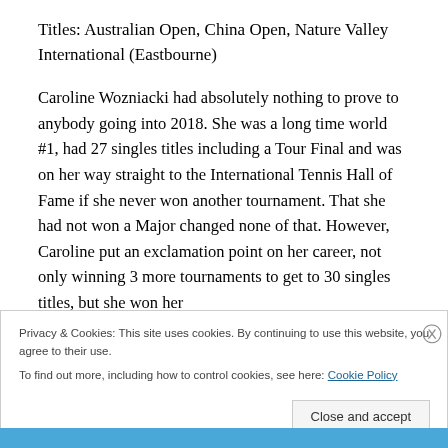Titles: Australian Open, China Open, Nature Valley International (Eastbourne)
Caroline Wozniacki had absolutely nothing to prove to anybody going into 2018. She was a long time world #1, had 27 singles titles including a Tour Final and was on her way straight to the International Tennis Hall of Fame if she never won another tournament. That she had not won a Major changed none of that. However, Caroline put an exclamation point on her career, not only winning 3 more tournaments to get to 30 singles titles, but she won her
Privacy & Cookies: This site uses cookies. By continuing to use this website, you agree to their use.
To find out more, including how to control cookies, see here: Cookie Policy
Close and accept